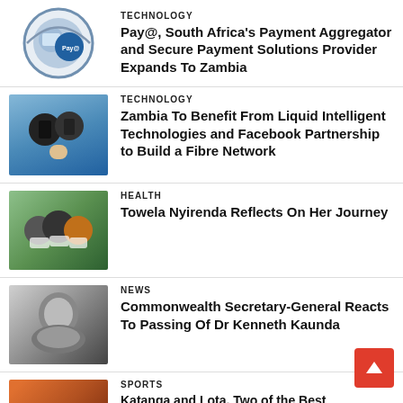TECHNOLOGY — Pay@, South Africa's Payment Aggregator and Secure Payment Solutions Provider Expands To Zambia
TECHNOLOGY — Zambia To Benefit From Liquid Intelligent Technologies and Facebook Partnership to Build a Fibre Network
HEALTH — Towela Nyirenda Reflects On Her Journey
NEWS — Commonwealth Secretary-General Reacts To Passing Of Dr Kenneth Kaunda
SPORTS — Katanga and Lota, Two of the Best...